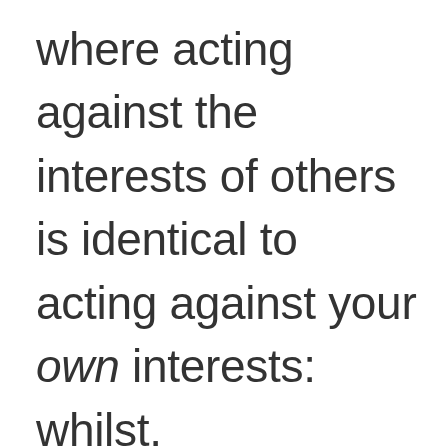where acting against the interests of others is identical to acting against your own interests: whilst.